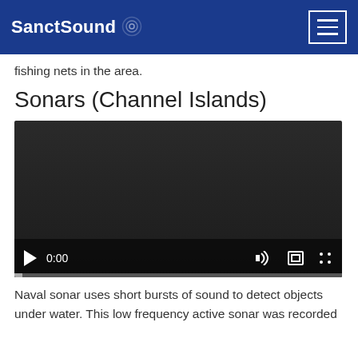SanctSound
fishing nets in the area.
Sonars (Channel Islands)
[Figure (screenshot): An embedded video player showing a dark/black screen with playback controls at the bottom including a play button, time display showing 0:00, volume icon, fullscreen icon, and options menu. A thin progress bar runs along the bottom.]
Naval sonar uses short bursts of sound to detect objects under water. This low frequency active sonar was recorded